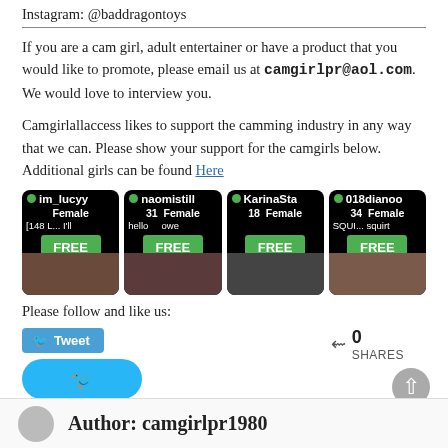Instagram: @baddragontoys
If you are a cam girl, adult entertainer or have a product that you would like to promote, please email us at camgirlpr@aol.com. We would love to interview you.
Camgirlallaccess likes to support the camming industry in any way that we can. Please show your support for the camgirls below. Additional girls can be found Here
[Figure (screenshot): Four cam girl profile cards with names im_lucyy, naomistill, KarinaSta, 018dianoo, each showing Female gender, age, description text, and a green FREE button overlay]
Please follow and like us:
[Figure (screenshot): Tweet button (blue) and a large round blue Twitter bird button, with share count 0 SHARES on the right]
Author: camgirlpr1980